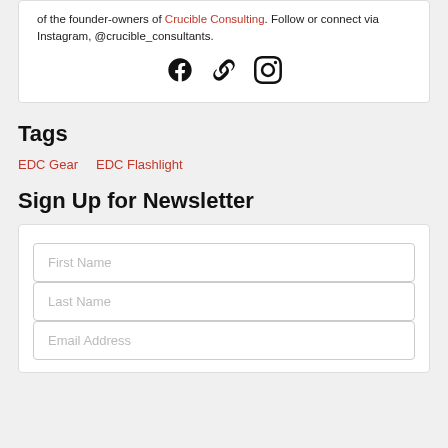of the founder-owners of Crucible Consulting. Follow or connect via Instagram, @crucible_consultants.
[Figure (other): Social media icons: Facebook, link/chain, Instagram]
Tags
EDC Gear   EDC Flashlight
Sign Up for Newsletter
First Name input field
Last Name input field
Email Address input field